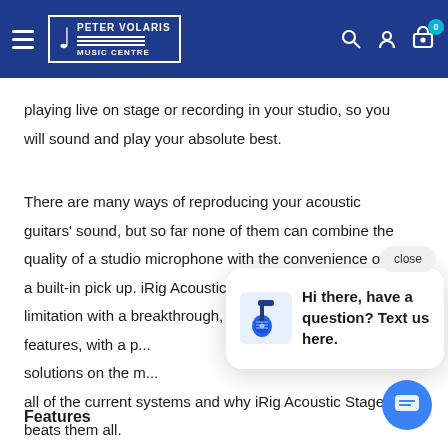Peter Volaris Music Centre
playing live on stage or recording in your studio, so you will sound and play your absolute best.
There are many ways of reproducing your acoustic guitars' sound, but so far none of them can combine the quality of a studio microphone with the convenience of a built-in pick up. iRig Acoustic Stage addresses this limitation with a breakthrough, ad... features, with a p... solutions on the m... all of the current systems and why iRig Acoustic Stage beats them all.
[Figure (screenshot): Chat popup with guitar icon and text: Hi there, have a question? Text us here.]
Features